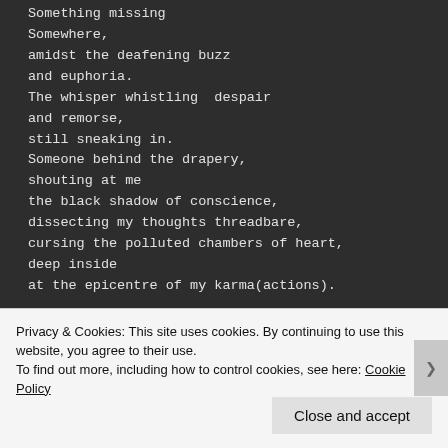Something missing
Somewhere,
amidst the deafening buzz
and euphoria.
The whisper whistling  despair
and remorse,
still sneaking in.
Someone behind the drapery,
shouting at me
the black shadow of conscience,
dissecting my thoughts threadbare,
cursing the polluted chambers of heart,
deep inside
at the epicentre of my karma(actions).
Privacy & Cookies: This site uses cookies. By continuing to use this website, you agree to their use.
To find out more, including how to control cookies, see here: Cookie Policy